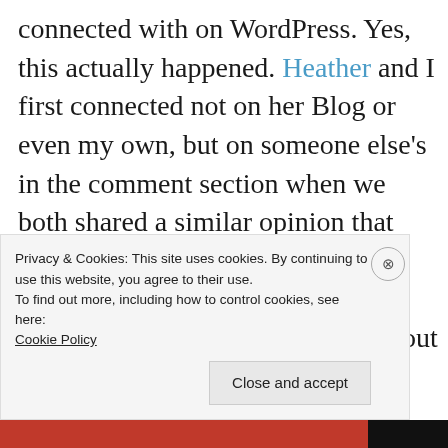connected with on WordPress. Yes, this actually happened. Heather and I first connected not on her Blog or even my own, but on someone else's in the comment section when we both shared a similar opinion that one can, in fact, write a successful Blog about one own's life, with general stories and anecdotes without a running theme. The writer of that particular Blog didn't agree and Heather and I bonded
Privacy & Cookies: This site uses cookies. By continuing to use this website, you agree to their use.
To find out more, including how to control cookies, see here: Cookie Policy